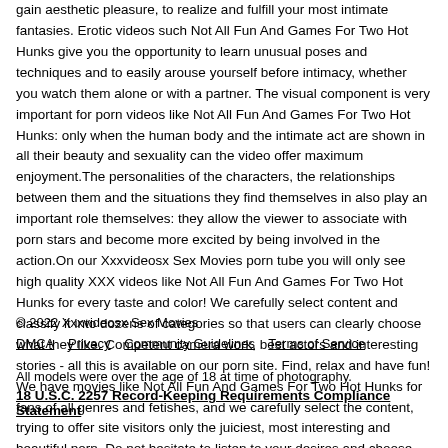gain aesthetic pleasure, to realize and fulfill your most intimate fantasies. Erotic videos such Not All Fun And Games For Two Hot Hunks give you the opportunity to learn unusual poses and techniques and to easily arouse yourself before intimacy, whether you watch them alone or with a partner. The visual component is very important for porn videos like Not All Fun And Games For Two Hot Hunks: only when the human body and the intimate act are shown in all their beauty and sexuality can the video offer maximum enjoyment.The personalities of the characters, the relationships between them and the situations they find themselves in also play an important role themselves: they allow the viewer to associate with porn stars and become more excited by being involved in the action.On our Xxxvideosx Sex Movies porn tube you will only see high quality XXX videos like Not All Fun And Games For Two Hot Hunks for every taste and color! We carefully select content and classify it into dozens of categories so that users can clearly choose what they like. Competent camera work, best actors and interesting stories - all this is available on our porn site. Find, relax and have fun! We have movies like Not All Fun And Games For Two Hot Hunks for fans of all genres and fetishes, and we carefully select the content, trying to offer site visitors only the juiciest, most interesting and beautiful porn. Do not hesitate to listen to your desires and choose what you personally like.We post many new videos like Not All Fun And Games For Two Hot Hunks every day.
© 2022 Xxxvideosx Sex Movies
DMCA  Privacy  Community Guidelines  Terms of Service

All models were over the age of 18 at time of photography.
18 U.S.C. 2257 Record-Keeping Requirements Compliance Statement